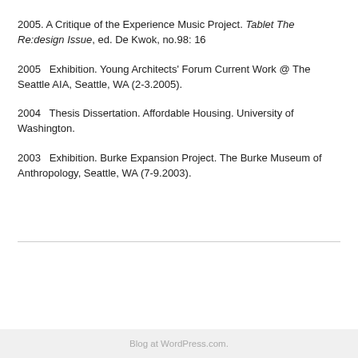2005. A Critique of the Experience Music Project. Tablet The Re:design Issue, ed. De Kwok, no.98: 16
2005  Exhibition. Young Architects' Forum Current Work @ The Seattle AIA, Seattle, WA (2-3.2005).
2004  Thesis Dissertation. Affordable Housing. University of Washington.
2003  Exhibition. Burke Expansion Project. The Burke Museum of Anthropology, Seattle, WA (7-9.2003).
Blog at WordPress.com.